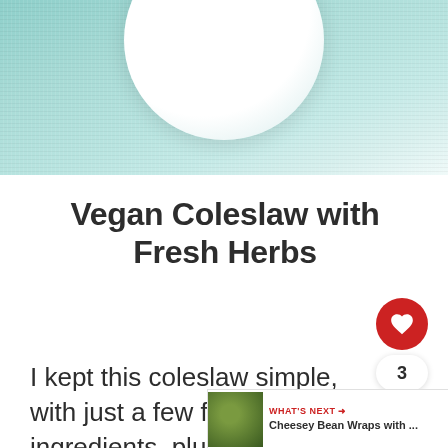[Figure (photo): Top portion of a food blog page showing a teal/mint colored fabric background with a white plate partially visible at the top center]
Vegan Coleslaw with Fresh Herbs
I kept this coleslaw simple, with just a few fresh ingredients, plus mayo and seasoning.  Simple sometimes is best.